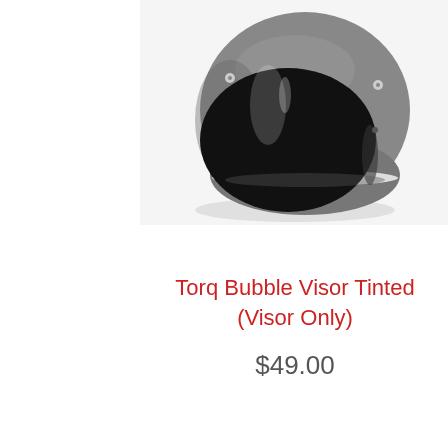[Figure (photo): A matte gray open-face motorcycle helmet with a large tinted black bubble visor attached, photographed on a white background.]
Torq Bubble Visor Tinted (Visor Only)
$49.00